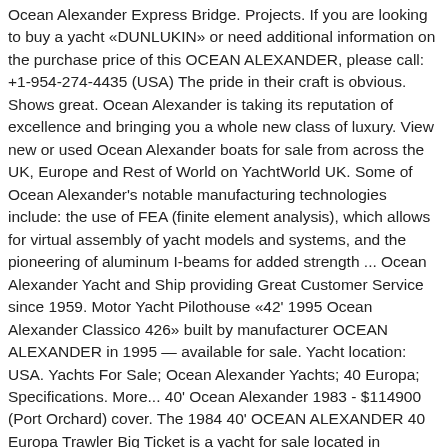Ocean Alexander Express Bridge. Projects. If you are looking to buy a yacht «DUNLUKIN» or need additional information on the purchase price of this OCEAN ALEXANDER, please call: +1-954-274-4435 (USA) The pride in their craft is obvious. Shows great. Ocean Alexander is taking its reputation of excellence and bringing you a whole new class of luxury. View new or used Ocean Alexander boats for sale from across the UK, Europe and Rest of World on YachtWorld UK. Some of Ocean Alexander's notable manufacturing technologies include: the use of FEA (finite element analysis), which allows for virtual assembly of yacht models and systems, and the pioneering of aluminum I-beams for added strength ... Ocean Alexander Yacht and Ship providing Great Customer Service since 1959. Motor Yacht Pilothouse «42' 1995 Ocean Alexander Classico 426» built by manufacturer OCEAN ALEXANDER in 1995 — available for sale. Yacht location: USA. Yachts For Sale; Ocean Alexander Yachts; 40 Europa; Specifications. More... 40' Ocean Alexander 1983 - $114900 (Port Orchard) cover. The 1984 40' OCEAN ALEXANDER 40 Europa Trawler Big Ticket is a yacht for sale located in Shallotte, North Carolina, USA. Currently operating under the direction of Alex's son, Johnny Chueh, Ocean Alexander builds yachts from 70' to 155' LOA, in two distinct series, Motor Yachts and Megayachts. If you